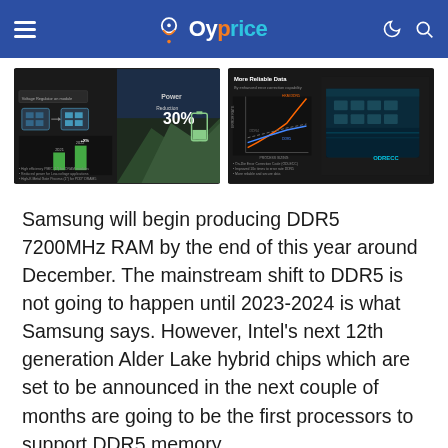Oyprice
[Figure (screenshot): Two Samsung DDR5 presentation slides side by side. Left slide: 'Lower Power - By reduced voltage and new process' showing 30% power improvement chart. Right slide: 'More Reliable Data - By enhanced error correction capability' showing HKMG DDR5 and DDR5 comparison graph with RAM module image.]
Samsung will begin producing DDR5 7200MHz RAM by the end of this year around December. The mainstream shift to DDR5 is not going to happen until 2023-2024 is what Samsung says. However, Intel's next 12th generation Alder Lake hybrid chips which are set to be announced in the next couple of months are going to be the first processors to support DDR5 memory.